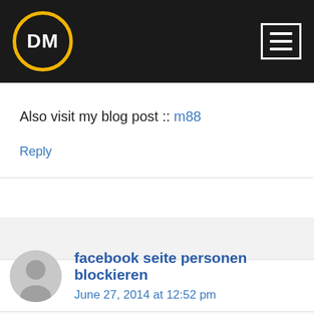DM
Also visit my blog post :: m88
Reply
facebook seite personen blockieren
June 27, 2014 at 12:52 pm
Hello I am so excited I found your blog, I really found you by error, while I was researching on Aol for something else,